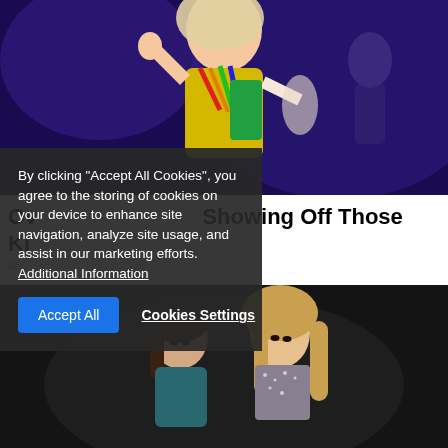[Figure (photo): Female performer on stage wearing colorful costume with rainbow straps, waving to audience, purple/blue stage lighting]
[Figure (photo): Cookie consent overlay banner with text about accepting cookies, Accept All button and Cookies Settings link]
By clicking "Accept All Cookies", you agree to the storing of cookies on your device to enhance site navigation, analyze site usage, and assist in our marketing efforts. Additional Information
Accept All
Cookies Settings
Ov... Showing Off Those Ki... 8e...
[Figure (photo): Two young women posing together, one with dark hair wearing teal/blue top, one with long blonde hair wearing sparkly top, dark background]